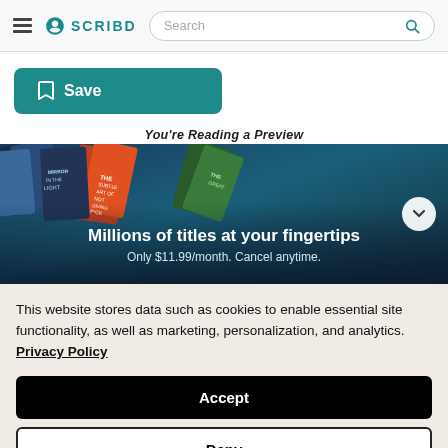SCRIBD — Search bar navigation header
Save
You're Reading a Preview
[Figure (illustration): Scribd promotional banner showing colorful book covers on a dark blue background with text 'Millions of titles at your fingertips' and 'Only $11.99/month. Cancel anytime.']
This website stores data such as cookies to enable essential site functionality, as well as marketing, personalization, and analytics. Privacy Policy
Accept
Deny